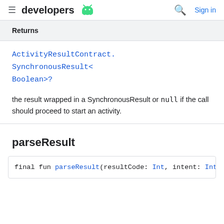developers
Returns
ActivityResultContract.SynchronousResult<Boolean>?
the result wrapped in a SynchronousResult or null if the call should proceed to start an activity.
parseResult
final fun parseResult(resultCode: Int, intent: Inter